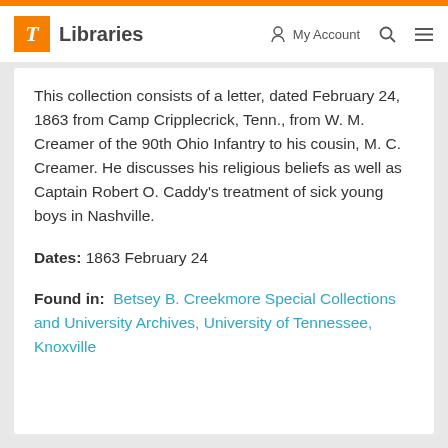T Libraries | My Account | Search | Menu
This collection consists of a letter, dated February 24, 1863 from Camp Cripplecrick, Tenn., from W. M. Creamer of the 90th Ohio Infantry to his cousin, M. C. Creamer. He discusses his religious beliefs as well as Captain Robert O. Caddy's treatment of sick young boys in Nashville.
Dates: 1863 February 24
Found in: Betsey B. Creekmore Special Collections and University Archives, University of Tennessee, Knoxville